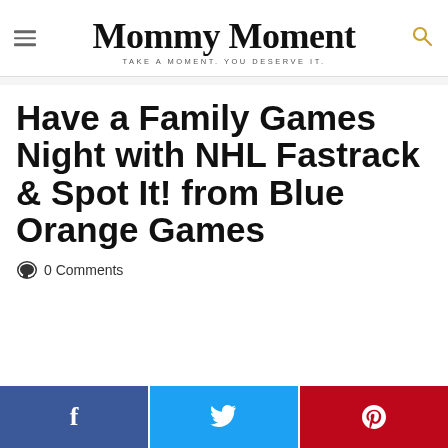Mommy Moment — TAKE A MOMENT. YOU DESERVE IT.
Have a Family Games Night with NHL Fastrack & Spot It! from Blue Orange Games
0 Comments
[Figure (other): Social sharing buttons: Facebook (blue), Twitter (light blue), Pinterest (red)]